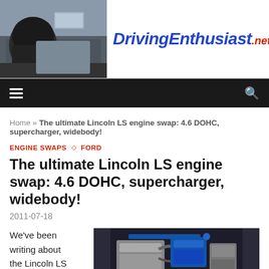[Figure (photo): Car interior dashboard photo viewed from driver helmet perspective]
DrivingEnthusiast.net
Navigation bar with menu and search icons
Home » The ultimate Lincoln LS engine swap: 4.6 DOHC, supercharger, widebody!
ENGINE SWAPS ◇ FORD
The ultimate Lincoln LS engine swap: 4.6 DOHC, supercharger, widebody!
2011-07-18
We've been writing about the Lincoln LS
[Figure (photo): Engine bay photo showing supercharged 4.6 DOHC engine with blue components]